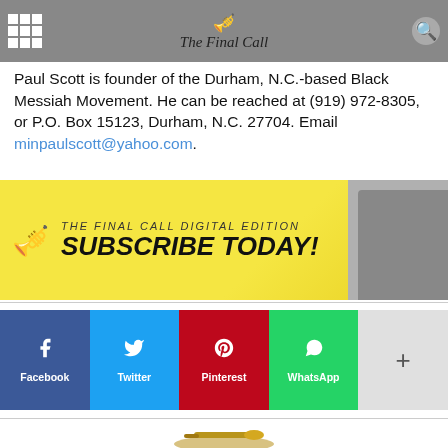The Final Call
Paul Scott is founder of the Durham, N.C.-based Black Messiah Movement. He can be reached at (919) 972-8305, or P.O. Box 15123, Durham, N.C. 27704. Email minpaulscott@yahoo.com.
[Figure (infographic): The Final Call Digital Edition Subscribe Today! banner advertisement with trumpet graphic on left and person holding tablet on right, yellow background]
[Figure (infographic): Social share buttons row: Facebook (blue), Twitter (light blue), Pinterest (red), WhatsApp (green), More/plus button (grey)]
[Figure (illustration): Partial trumpet illustration at bottom of page, gold/brass colored]